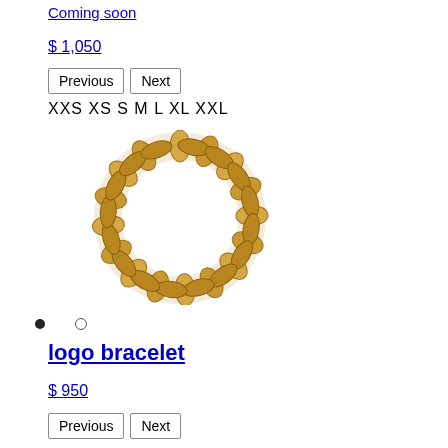Coming soon
$ 1,050
Previous  Next
XXS XS S M L XL XXL
[Figure (photo): Gold chain bracelet laid flat in a circular shape, showing interlocking chain links in warm gold tone.]
• ○ (navigation dots)
logo bracelet
$ 950
Previous  Next